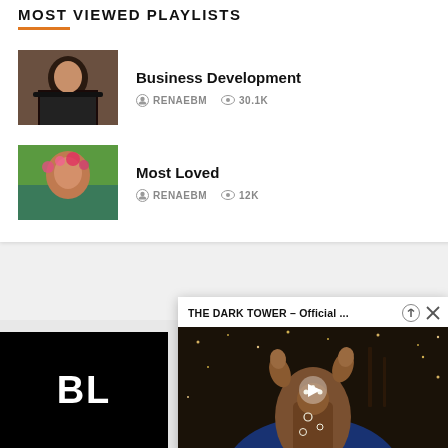MOST VIEWED PLAYLISTS
Business Development — RENAEBM — 30.1K views
Most Loved — RENAEBM — 12K views
[Figure (screenshot): Black panel with text BL (partial logo)]
[Figure (screenshot): Floating video popup: THE DARK TOWER - Official ... with thumbnail showing figure with hands raised]